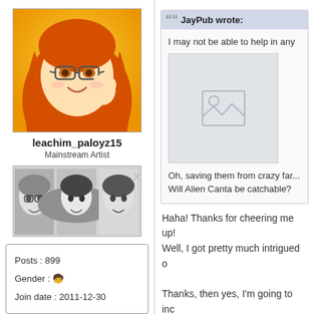[Figure (illustration): Anime-style avatar of a girl with long orange/red hair and glasses, yellow/orange background]
leachim_paloyz15
Mainstream Artist
[Figure (illustration): Strip of three anime-style character face icons in greyscale]
Posts : 899
Gender : 🧒
Join date : 2011-12-30
JayPub wrote:
I may not be able to help in any
[Figure (photo): Image placeholder (missing image icon)]
Oh, saving them from crazy far...
Will Alien Canta be catchable?
Haha! Thanks for cheering me up!
Well, I got pretty much intrigued o
Thanks, then yes, I'm going to inc
I'm thinking of setting CANTA as a
I also plan on having each of the